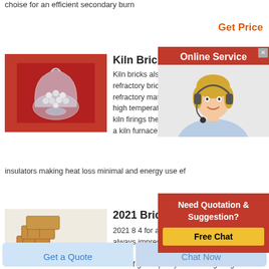choise for an efficient secondary burn
Get Price
[Figure (photo): A glass vessel containing white ceramic balls/beads on a red background (kiln refractory beads)]
Kiln Brick
Kiln bricks also refe refractory bricks are refractory material t high temperatures s kiln firings the brick a kiln furnace firepl insulators making heat loss minimal and energy use ef
[Figure (photo): Online Service chat agent - blonde woman with headset smiling, red background banner]
[Figure (photo): Need Quotation & Suggestion Free Chat button widget]
[Figure (photo): Golden/brown fired bricks stacked on a white surface]
2021 Brick Pr...
2021 8 4 for a timeless house exterior that always impresses brick is the best choice the cost of good quality brick siding ranges from 12 000 to 22 000 installed on a 2 000 sq ft house
Get a Quote
Chat Now